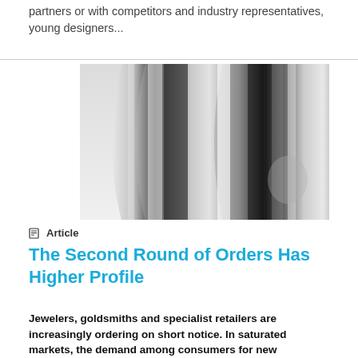partners or with competitors and industry representatives, young designers...
[Figure (photo): Close-up macro photograph of two silver/metallic rings, showing reflective chrome-like surfaces with dark and light gradients]
Article
The Second Round of Orders Has Higher Profile
Jewelers, goldsmiths and specialist retailers are increasingly ordering on short notice. In saturated markets, the demand among consumers for new